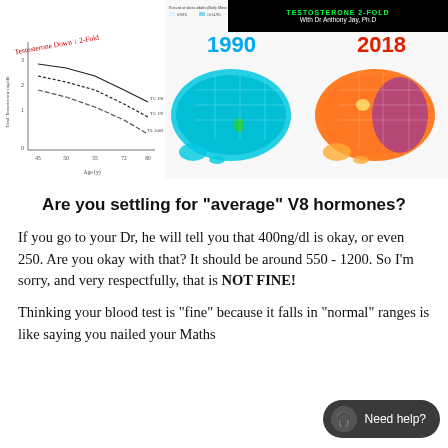TESTOSTERONE 2-FOLD With Dr Anthony Jay, Ph.D
[Figure (continuous-plot): Line chart showing testosterone levels declining with age across three time cohorts (T1: 1987-89, T2: 1995-97, T3: 2003-04). Handwritten red annotation reads 'Testosterone Down 2-Fold'. Y-axis: Total Testosterone (ng/dl), X-axis: Age (y).]
[Figure (map): Two US maps side by side showing percent of obese adults (Body Mass Index of 30+) in 1990 (mostly light blue/cyan) and 2018 (mostly orange/red/purple), illustrating a dramatic increase in obesity rates across states over 28 years.]
Are you settling for "average" V8 hormones?
If you go to your Dr, he will tell you that 400ng/dl is okay, or even 250. Are you okay with that? It should be around 550 - 1200. So I'm sorry, and very respectfully, that is NOT FINE!
Thinking your blood test is "fine" because it falls in "normal" ranges is like saying you nailed your Maths